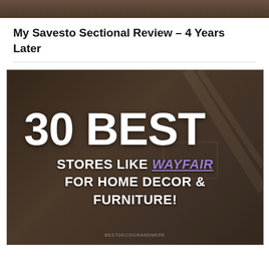[Figure (photo): Partial top edge of a photograph showing a dark brown/furniture background]
My Savesto Sectional Review – 4 Years Later
[Figure (infographic): Dark banner image with large white bold text reading '30 BEST STORES LIKE WAYFAIR FOR HOME DECOR & FURNITURE!' with WAYFAIR highlighted in purple italic with underline. Small watermark text at bottom center reads 'BESTDECOGRANDMERE'. Background shows a blurred interior room scene.]